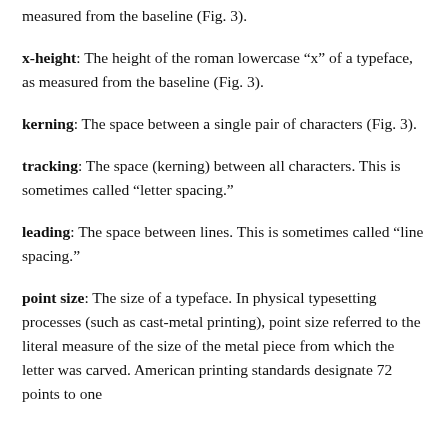measured from the baseline (Fig. 3).
x-height: The height of the roman lowercase “x” of a typeface, as measured from the baseline (Fig. 3).
kerning: The space between a single pair of characters (Fig. 3).
tracking: The space (kerning) between all characters. This is sometimes called “letter spacing.”
leading: The space between lines. This is sometimes called “line spacing.”
point size: The size of a typeface. In physical typesetting processes (such as cast-metal printing), point size referred to the literal measure of the size of the metal piece from which the letter was carved. American printing standards designate 72 points to one